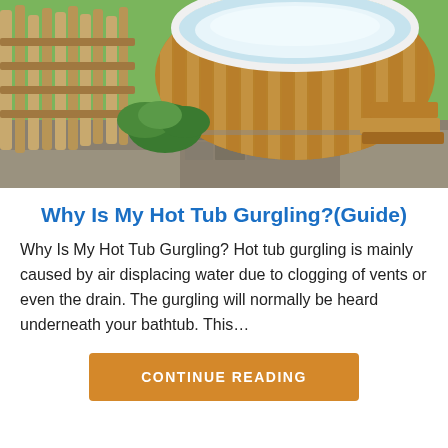[Figure (photo): Outdoor wooden hot tub with a round barrel design, wooden steps, and a rustic bamboo/log fence in the background surrounded by greenery]
Why Is My Hot Tub Gurgling?(Guide)
Why Is My Hot Tub Gurgling? Hot tub gurgling is mainly caused by air displacing water due to clogging of vents or even the drain. The gurgling will normally be heard underneath your bathtub. This…
CONTINUE READING